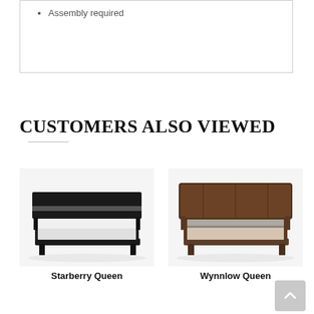Assembly required
CUSTOMERS ALSO VIEWED
[Figure (photo): Starberry Queen bed frame in black finish with white bedding]
Starberry Queen
[Figure (photo): Wynnlow Queen bed frame in rustic brown finish with striped bedding]
Wynnlow Queen